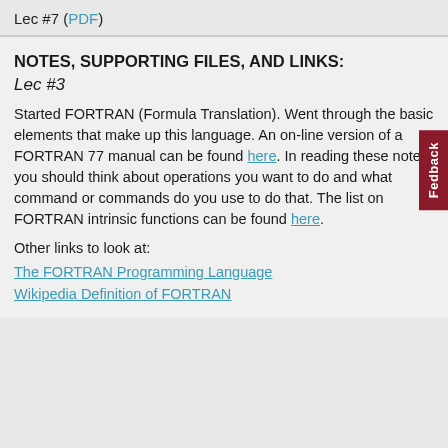Lec #7 (PDF)
NOTES, SUPPORTING FILES, AND LINKS:
Lec #3
Started FORTRAN (Formula Translation). Went through the basic elements that make up this language. An on-line version of a FORTRAN 77 manual can be found here. In reading these notes, you should think about operations you want to do and what command or commands do you use to do that. The list on FORTRAN intrinsic functions can be found here.
Other links to look at:
The FORTRAN Programming Language
Wikipedia Definition of FORTRAN